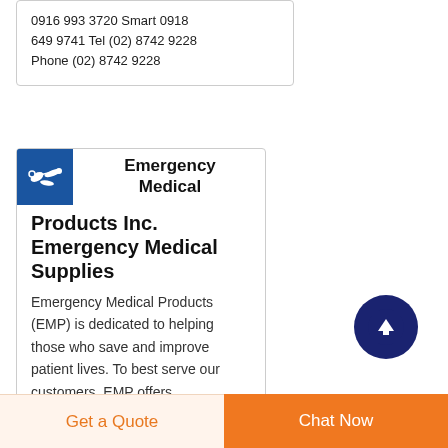0916 993 3720 Smart 0918 649 9741 Tel (02) 8742 9228 Phone (02) 8742 9228
[Figure (logo): Blue square logo with white medical/EMS imagery (scissors/tools)]
Emergency Medical Products Inc.
Emergency Medical Supplies
Emergency Medical Products (EMP) is dedicated to helping those who save and improve patient lives. To best serve our customers, EMP offers thousands of medical products
Get a Quote  Chat Now